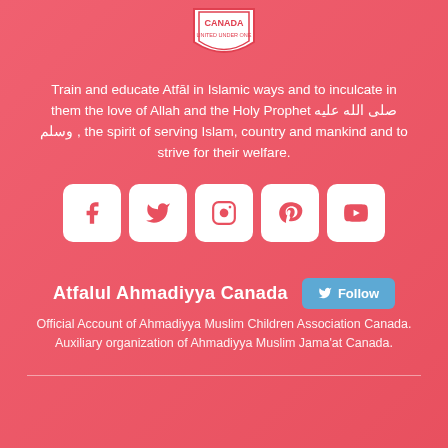[Figure (logo): Shield/badge logo with text 'UNITED UNDER ONE' at top center]
Train and educate Atfāl in Islamic ways and to inculcate in them the love of Allah and the Holy Prophet صلى الله عليه وسلم , the spirit of serving Islam, country and mankind and to strive for their welfare.
[Figure (infographic): Five white rounded square social media icons: Facebook, Twitter, Instagram, Pinterest, YouTube]
Atfalul Ahmadiyya Canada
Official Account of Ahmadiyya Muslim Children Association Canada. Auxiliary organization of Ahmadiyya Muslim Jama'at Canada.